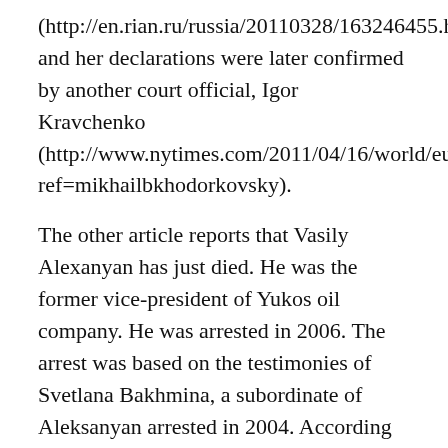(http://en.rian.ru/russia/20110328/163246455.html), and her declarations were later confirmed by another court official, Igor Kravchenko (http://www.nytimes.com/2011/04/16/world/europe/16russia.html?ref=mikhailbkhodorkovsky).
The other article reports that Vasily Alexanyan has just died. He was the former vice-president of Yukos oil company. He was arrested in 2006. The arrest was based on the testimonies of Svetlana Bakhmina, a subordinate of Aleksanyan arrested in 2004. According to Aleksanyan, Bakhmina's testimonies were false, and were taken from her under pressure.